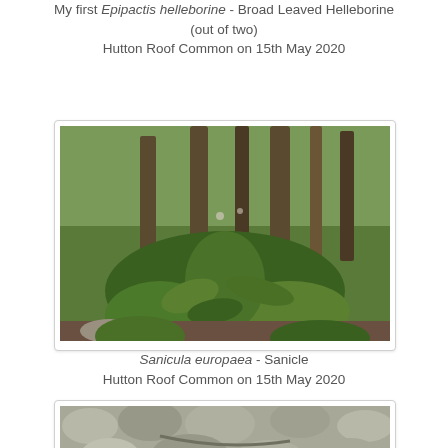My first Epipactis helleborine - Broad Leaved Helleborine (out of two) Hutton Roof Common on 15th May 2020
[Figure (photo): Photograph of Epipactis helleborine plant growing in woodland floor with trees in background, green foliage and vegetation visible]
Sanicula europaea - Sanicle Hutton Roof Common on 15th May 2020
[Figure (photo): Photograph of limestone rock surface with fern plant growing in crevice]